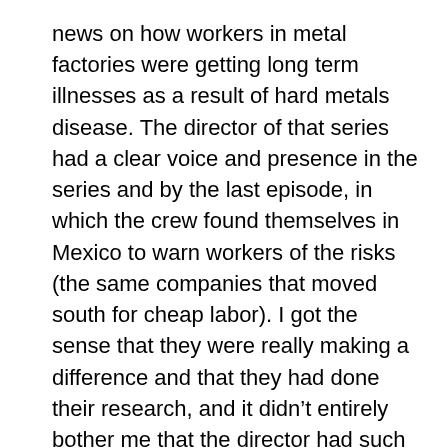news on how workers in metal factories were getting long term illnesses as a result of hard metals disease. The director of that series had a clear voice and presence in the series and by the last episode, in which the crew found themselves in Mexico to warn workers of the risks (the same companies that moved south for cheap labor). I got the sense that they were really making a difference and that they had done their research, and it didn't entirely bother me that the director had such a slant because all documentaries have a voice, hidden or omnipresent. Therefore, as the article relays, it is not just that these anchors are covering more stories (stories that no doubt are intentionally ignored in English language media), it is the slant and content that hits home with the viewers. Although this can be seen as a given, what should be examined is the hidden agenda that is present by the style in which English language networks broach the topic, along with the frequency. By not covering the